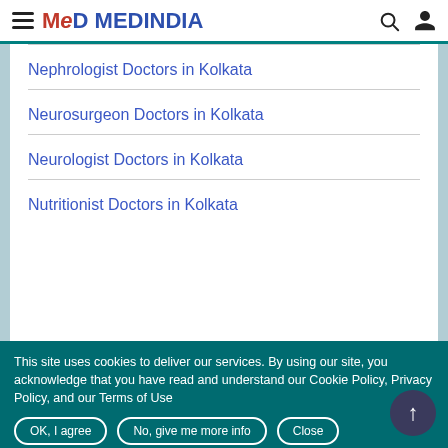MEDINDIA
Nephrologist Doctors in Kolkata
Neurosurgeon Doctors in Kolkata
Neurologist Doctors in Kolkata
Nutritionist Doctors in Kolkata
This site uses cookies to deliver our services. By using our site, you acknowledge that you have read and understand our Cookie Policy, Privacy Policy, and our Terms of Use